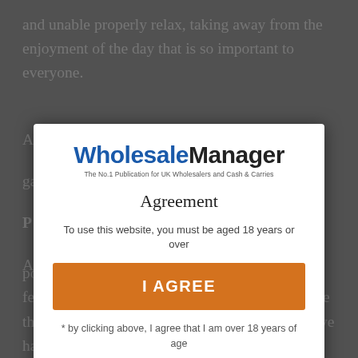and unable properly relax, taking away from the enjoyment of the day that is so important to everyone.
[Figure (logo): WholesaleManager logo - 'Wholesale' in blue bold, 'Manager' in black bold, tagline: 'The No.1 Publication for UK Wholesalers and Cash & Carries']
Agreement
To use this website, you must be aged 18 years or over
I AGREE
* by clicking above, I agree that I am over 18 years of age
power the games we love or to help us cook our festive favourites in the kitchen, it's little surprise that in a year where the safety of the ones we love has been top of mind